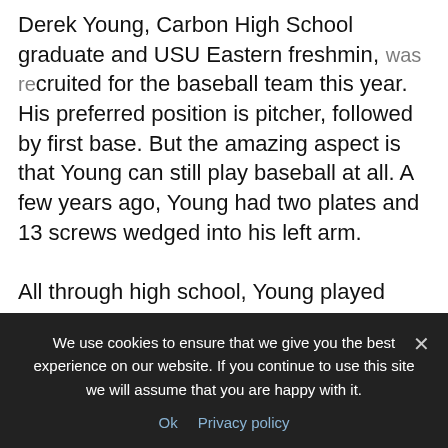Derek Young, Carbon High School graduate and USU Eastern freshman, was recruited for the baseball team this year. His preferred position is pitcher, followed by first base. But the amazing aspect is that Young can still play baseball at all. A few years ago, Young had two plates and 13 screws wedged into his left arm.
All through high school, Young played sports: four years of baseball, basketball and golf. His baseball career began way back with little league. Later he joined travel teams and played for three years in the American Legion.
We use cookies to ensure that we give you the best experience on our website. If you continue to use this site we will assume that you are happy with it.
Ok   Privacy policy